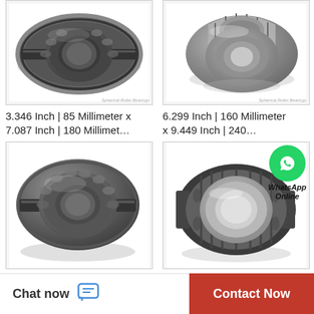[Figure (photo): Spherical roller bearing, dark gray, double row, viewed from front-side angle]
3.346 Inch | 85 Millimeter x 7.087 Inch | 180 Millimet…
[Figure (photo): Spherical roller bearing, silver/steel, double row, viewed from front at angle]
6.299 Inch | 160 Millimeter x 9.449 Inch | 240…
[Figure (photo): Spherical roller bearing, dark gray, double row, viewed from front-side angle]
[Figure (photo): Cylindrical roller bearing, dark gray/silver, viewed from front-side angle, with WhatsApp Online overlay]
Chat now
Contact Now